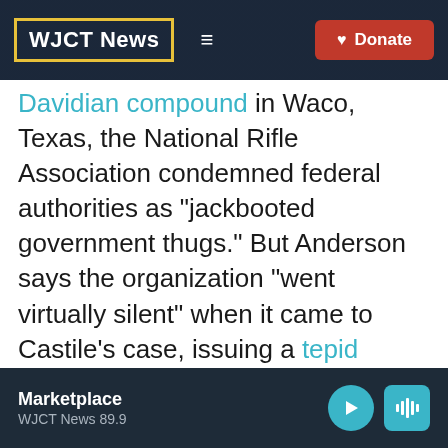WJCT News | Donate
Davidian compound in Waco, Texas, the National Rifle Association condemned federal authorities as "jackbooted government thugs." But Anderson says the organization "went virtually silent" when it came to Castile's case, issuing a tepid statement that did not mention Castile by name.
In her new book, The Second: Race and Guns in a Fatally Unequal America, Anderson
Marketplace WJCT News 89.9